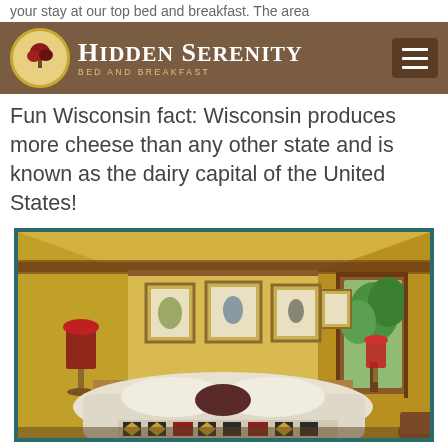your stay at our top bed and breakfast. The area
Hidden Serenity Bed and Breakfast
Fun Wisconsin fact: Wisconsin produces more cheese than any other state and is known as the dairy capital of the United States!
[Figure (photo): Interior photo of a cozy bed and breakfast guest room with warm yellow walls, wooden ceiling beams, a large bed with white linens and a Native American-pattern quilt throw, red bedside lamp, framed botanical bird prints on the wall, and a wooden door with glass panes showing green trees outside.]